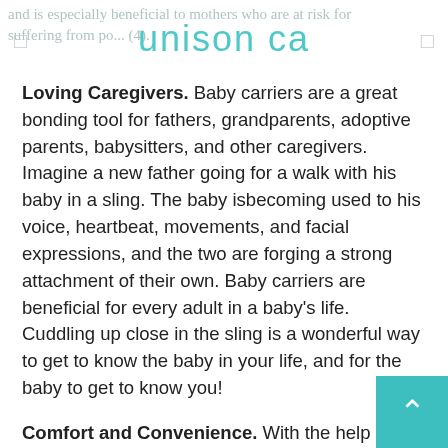and is especially beneficial to mothers who are at risk for suffering from po... (4). unison ca
Loving Caregivers. Baby carriers are a great bonding tool for fathers, grandparents, adoptive parents, babysitters, and other caregivers. Imagine a new father going for a walk with his baby in a sling. The baby isbecoming used to his voice, heartbeat, movements, and facial expressions, and the two are forging a strong attachment of their own. Baby carriers are beneficial for every adult in a baby's life. Cuddling up close in the sling is a wonderful way to get to know the baby in your life, and for the baby to get to know you!
Comfort and Convenience. With the help of a good carrier, you can take care of older children or do chores without frequent interruptions from an anxious or distressed infant—which helps to reduce sibling rivalry. Baby carriers are also